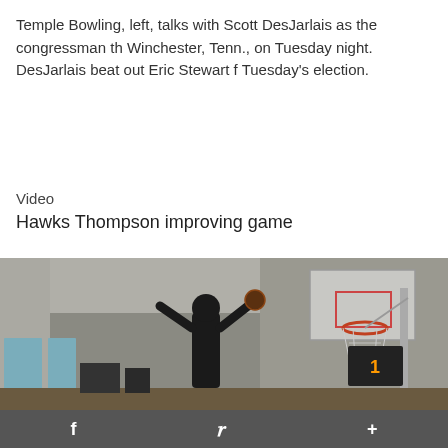Temple Bowling, left, talks with Scott DesJarlais as the congressman th Winchester, Tenn., on Tuesday night. DesJarlais beat out Eric Stewart f Tuesday's election.
Video
Hawks Thompson improving game
[Figure (photo): Basketball player shooting at a hoop in an indoor gymnasium, viewed from behind, reaching up toward a backboard. The gym has white walls, large windows on the left, and various equipment visible.]
f  y  +